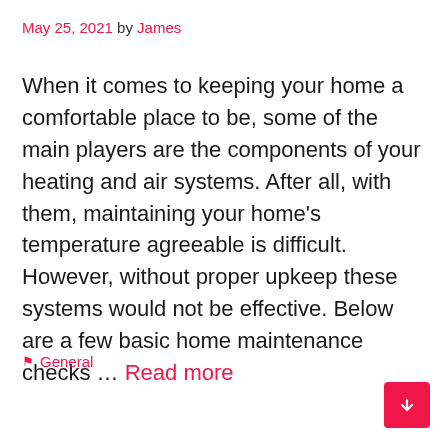May 25, 2021 by James
When it comes to keeping your home a comfortable place to be, some of the main players are the components of your heating and air systems. After all, with them, maintaining your home's temperature agreeable is difficult. However, without proper upkeep these systems would not be effective. Below are a few basic home maintenance checks … Read more
General